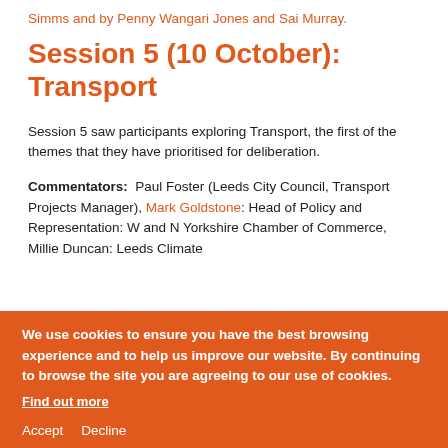Simms and by Penny Wangari Jones and Sai Murray.
Session 5 (10 October): Transport
Session 5 saw participants exploring Transport, the first of the themes that they have prioritised for deliberation.
Commentators: Paul Foster (Leeds City Council, Transport Projects Manager), Mark Goldstone: Head of Policy and Representation: W and N Yorkshire Chamber of Commerce, Millie Duncan: Leeds Climate
We use cookies to ensure you have the best browsing experience and to help us improve our website. By continuing to browse the site you are agreeing to our use of cookies.
Find out more
Accept   Decline